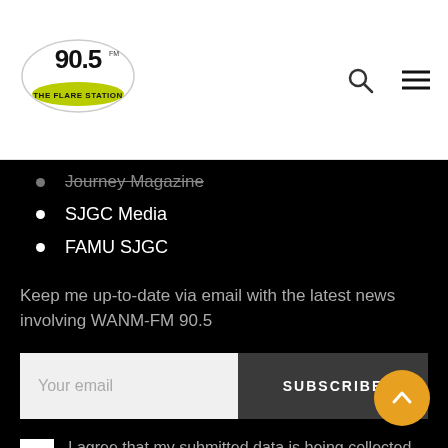[Figure (logo): 90.5 The Flare Station radio station logo — circular badge with '90.5' in large stylized text and 'THE FLARE STATION' on a yellow/green banner]
Journey Magazine (partially visible, cut off at top)
SJGC Media
FAMU SJGC
Keep me up-to-date via email with the latest news involving WANM-FM 90.5
Your email | SUBSCRIBE
I agree that my submitted data is being collected and stored.